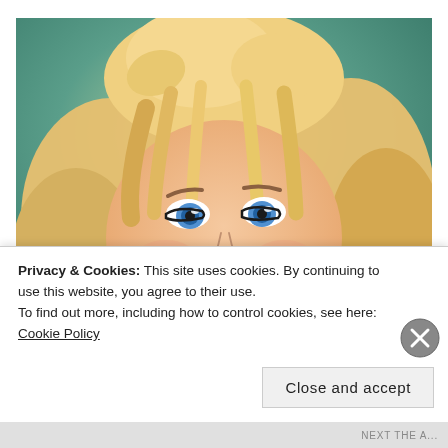[Figure (illustration): Cartoon/caricature illustration of a woman with blonde wavy hair, blue eyes, pink lips, wearing blue drop earrings, smiling broadly, on a teal/green background]
Privacy & Cookies: This site uses cookies. By continuing to use this website, you agree to their use.
To find out more, including how to control cookies, see here: Cookie Policy
Close and accept